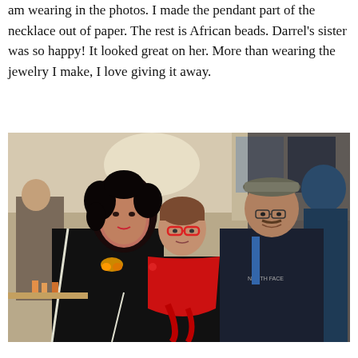am wearing in the photos. I made the pendant part of the necklace out of paper. The rest is African beads. Darrel's sister was so happy! It looked great on her. More than wearing the jewelry I make, I love giving it away.
[Figure (photo): Three people posing indoors at what appears to be a social event. On the left is a woman with curly dark hair wearing a black jacket with white trim and an orange/yellow necklace. In the center is a shorter woman wearing red-framed glasses and a bright red scarf over a black top. On the right is a tall man wearing a patterned flat cap and a dark North Face jacket. The background shows an interior space with warm lighting.]